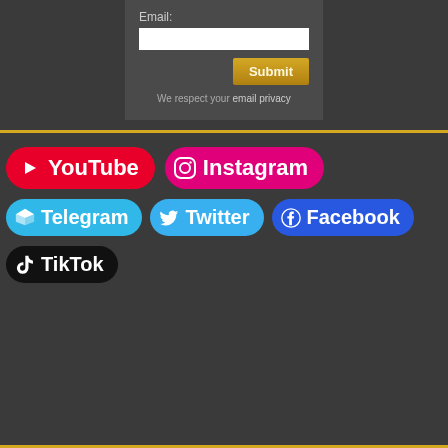Email:
We respect your email privacy
[Figure (screenshot): Social media buttons: YouTube, Instagram, Telegram, Twitter, Facebook, TikTok on a dark background with gold divider lines]